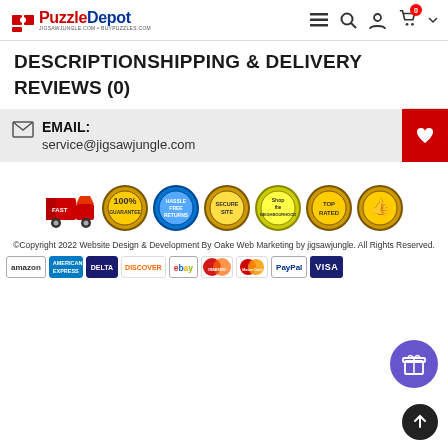PuzzleDepot — Navigation header with logo, menu, search, account, cart (0)
DESCRIPTIONSHIPPING & DELIVERY
REVIEWS (0)
EMAIL: service@jigsawjungle.com
[Figure (illustration): Row of trust/badge icons: Fast shipping truck, 100% guarantee, Hassle Free Returns, Secure Site, Shop the Neighbourhood, Top Rated, thumbs-up badge]
©Copyright 2022 Website Design & Development By Oake Web Marketing by jigsawjungle. All Rights Reserved.
[Figure (illustration): Payment method logos: amazon, American Express, Delta, Discover, eBay, Maestro, MasterCard, PayPal, Visa]